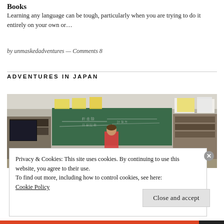Vocabulary Acquisition: Creating Connections with French Books
Learning any language can be tough, particularly when you are trying to do it entirely on your own or…
by unmaskedadventures — Comments 8
ADVENTURES IN JAPAN
[Figure (photo): Classroom photo showing students seated at desks facing a green chalkboard with Japanese writing. A teacher stands at the board. Bookshelves and colorful posters are visible on the walls.]
Privacy & Cookies: This site uses cookies. By continuing to use this website, you agree to their use.
To find out more, including how to control cookies, see here: Cookie Policy
Close and accept